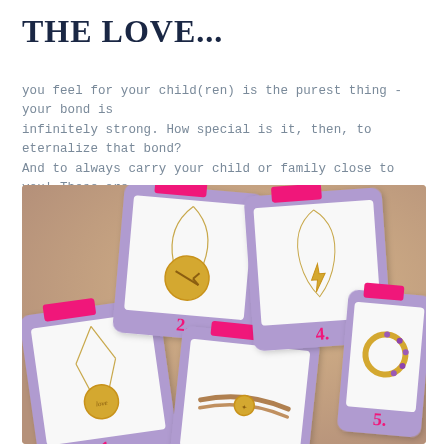THE LOVE...
you feel for your child(ren) is the purest thing - your bond is infinitely strong. How special is it, then, to eternalize that bond? And to always carry your child or family close to you! These are the most beautiful jewels to capture the love for your little one.
[Figure (photo): Collage of 5 jewelry items on polaroid-style cards with purple borders and pink tape accents, numbered 1-5: (1) gold coin necklace bottom-left, (2) gold zodiac disc necklace top-center-left, (3) gold cord bracelet center-bottom, (4) gold lightning bolt necklace top-center-right, (5) gold hoop earring with purple gems bottom-right. Background shows a person's hands/wrist in a warm beige tone.]